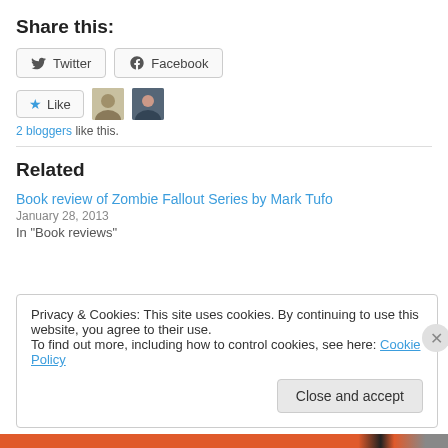Share this:
[Figure (other): Twitter and Facebook share buttons]
[Figure (other): Like button with two blogger avatars]
2 bloggers like this.
Related
Book review of Zombie Fallout Series by Mark Tufo
January 28, 2013
In "Book reviews"
Privacy & Cookies: This site uses cookies. By continuing to use this website, you agree to their use.
To find out more, including how to control cookies, see here: Cookie Policy